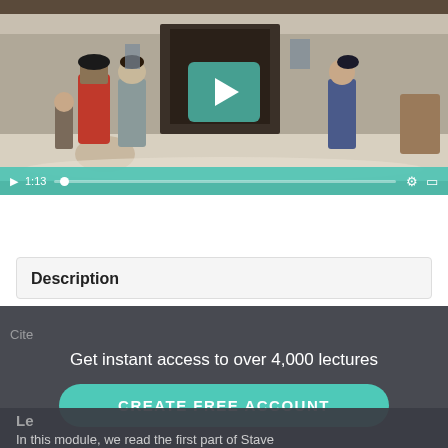[Figure (screenshot): Video player showing a historical painting of Victorian-era Christmas street scene with people in period clothing in snow. A teal play button overlay is visible in the center. Video controls bar at bottom shows play button, timestamp 1:13, progress bar, settings and fullscreen icons.]
Description
Cite
Get instant access to over 4,000 lectures
CREATE FREE ACCOUNT
Le
In this module, we read the first part of Stave